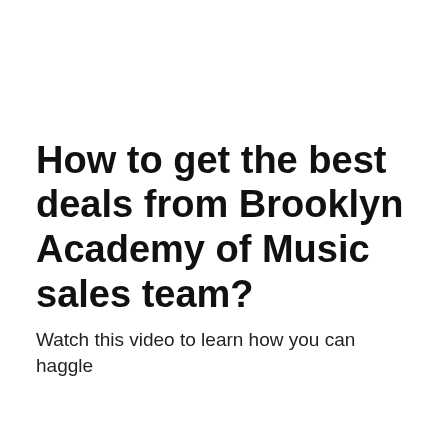How to get the best deals from Brooklyn Academy of Music sales team?
Watch this video to learn how you can haggle